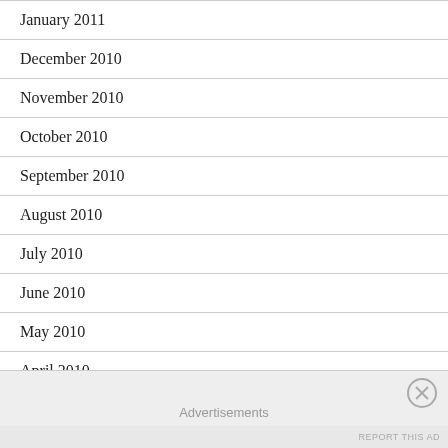January 2011
December 2010
November 2010
October 2010
September 2010
August 2010
July 2010
June 2010
May 2010
April 2010
March 2010
February 2010
Advertisements
REPORT THIS AD